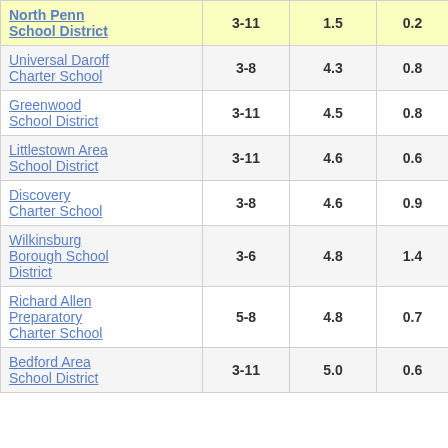| School/District | Grades | Col3 | Col4 | Score |
| --- | --- | --- | --- | --- |
| North Penn School District | 3-11 | 1.5 | 0.2 | 6.31 |
| Universal Daroff Charter School | 3-8 | 4.3 | 0.8 | 5.09 |
| Greenwood School District | 3-11 | 4.5 | 0.8 | 5.44 |
| Littlestown Area School District | 3-11 | 4.6 | 0.6 | 7.92 |
| Discovery Charter School | 3-8 | 4.6 | 0.9 | 4.93 |
| Wilkinsburg Borough School District | 3-6 | 4.8 | 1.4 | 3.33 |
| Richard Allen Preparatory Charter School | 5-8 | 4.8 | 0.7 | 6.69 |
| Bedford Area School District | 3-11 | 5.0 | 0.6 | 8.52 |